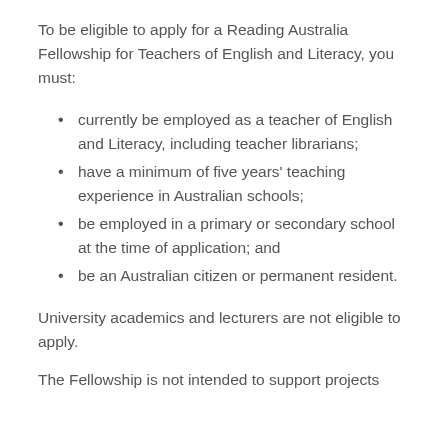To be eligible to apply for a Reading Australia Fellowship for Teachers of English and Literacy, you must:
currently be employed as a teacher of English and Literacy, including teacher librarians;
have a minimum of five years' teaching experience in Australian schools;
be employed in a primary or secondary school at the time of application; and
be an Australian citizen or permanent resident.
University academics and lecturers are not eligible to apply.
The Fellowship is not intended to support projects